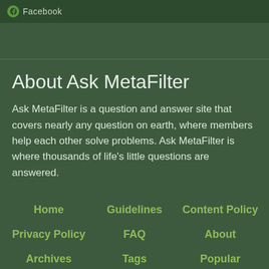Facebook
About Ask MetaFilter
Ask MetaFilter is a question and answer site that covers nearly any question on earth, where members help each other solve problems. Ask MetaFilter is where thousands of life's little questions are answered.
Home
Guidelines
Content Policy
Privacy Policy
FAQ
About
Archives
Tags
Popular
Random
BIPOC Board
Wiki